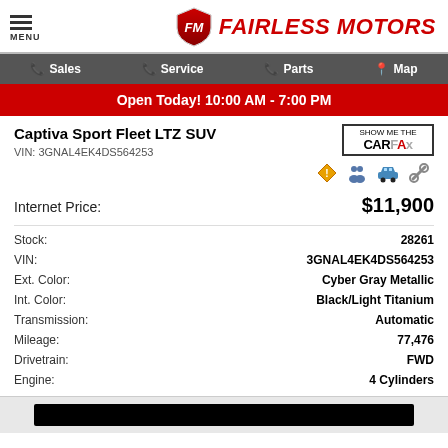MENU | FAIRLESS MOTORS
Sales | Service | Parts | Map
Open Today! 10:00 AM - 7:00 PM
Captiva Sport Fleet LTZ SUV
VIN: 3GNAL4EK4DS564253
| Field | Value |
| --- | --- |
| Internet Price: | $11,900 |
| Stock: | 28261 |
| VIN: | 3GNAL4EK4DS564253 |
| Ext. Color: | Cyber Gray Metallic |
| Int. Color: | Black/Light Titanium |
| Transmission: | Automatic |
| Mileage: | 77,476 |
| Drivetrain: | FWD |
| Engine: | 4 Cylinders |